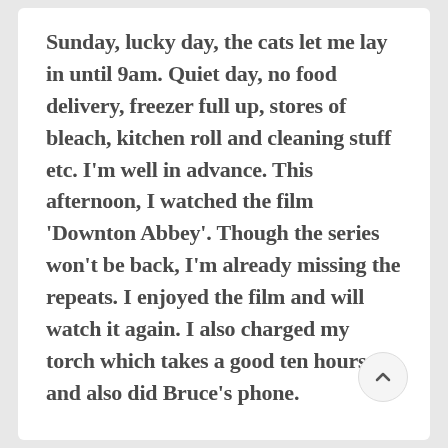Sunday, lucky day, the cats let me lay in until 9am. Quiet day, no food delivery, freezer full up, stores of bleach, kitchen roll and cleaning stuff etc. I'm well in advance. This afternoon, I watched the film 'Downton Abbey'. Though the series won't be back, I'm already missing the repeats. I enjoyed the film and will watch it again. I also charged my torch which takes a good ten hours and also did Bruce's phone.